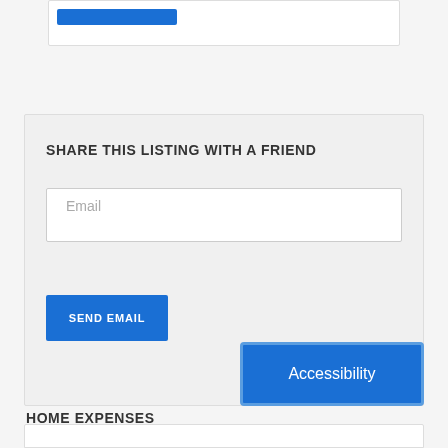[Figure (screenshot): Top card with a blue bar/button element partially visible at the top of the page]
SHARE THIS LISTING WITH A FRIEND
[Figure (screenshot): Email input text field with placeholder text 'Email']
[Figure (screenshot): Blue button labeled 'SEND EMAIL']
[Figure (screenshot): Blue 'Accessibility' button in lower right corner]
HOME EXPENSES